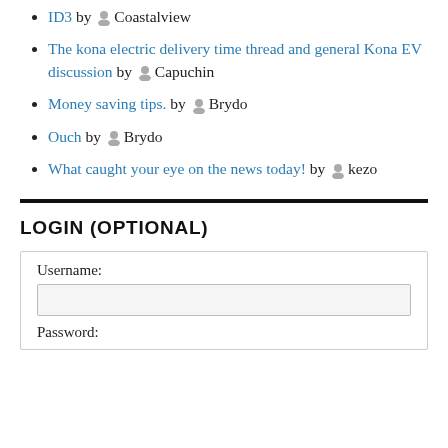ID3 by Coastalview
The kona electric delivery time thread and general Kona EV discussion by Capuchin
Money saving tips. by Brydo
Ouch by Brydo
What caught your eye on the news today! by kezo
LOGIN (OPTIONAL)
Username: [input field] Password: [input field]